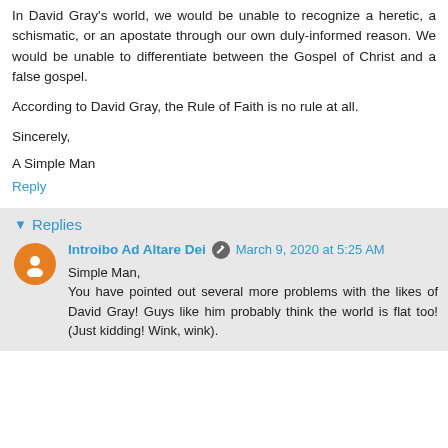In David Gray's world, we would be unable to recognize a heretic, a schismatic, or an apostate through our own duly-informed reason. We would be unable to differentiate between the Gospel of Christ and a false gospel.
According to David Gray, the Rule of Faith is no rule at all.
Sincerely,
A Simple Man
Reply
Replies
Introibo Ad Altare Dei  March 9, 2020 at 5:25 AM
Simple Man,
You have pointed out several more problems with the likes of David Gray! Guys like him probably think the world is flat too! (Just kidding! Wink, wink).